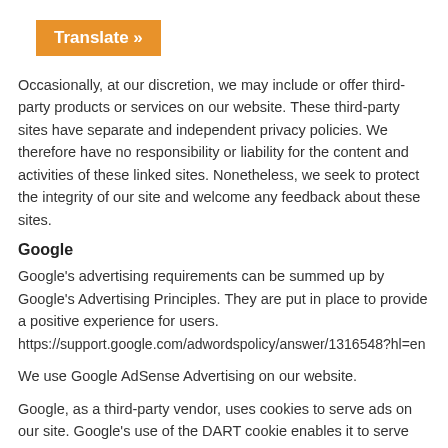[Figure (other): Orange button with white bold text 'Translate »']
Occasionally, at our discretion, we may include or offer third-party products or services on our website. These third-party sites have separate and independent privacy policies. We therefore have no responsibility or liability for the content and activities of these linked sites. Nonetheless, we seek to protect the integrity of our site and welcome any feedback about these sites.
Google
Google's advertising requirements can be summed up by Google's Advertising Principles. They are put in place to provide a positive experience for users. https://support.google.com/adwordspolicy/answer/1316548?hl=en
We use Google AdSense Advertising on our website.
Google, as a third-party vendor, uses cookies to serve ads on our site. Google's use of the DART cookie enables it to serve ads to our users based on previous visits to our site and other sites on